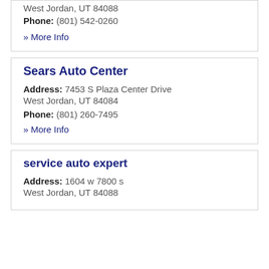Address: West Jordan, UT 84088
Phone: (801) 542-0260
» More Info
Sears Auto Center
Address: 7453 S Plaza Center Drive West Jordan, UT 84084
Phone: (801) 260-7495
» More Info
service auto expert
Address: 1604 w 7800 s West Jordan, UT 84088